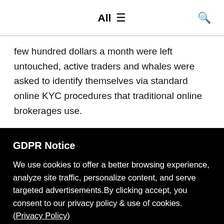All ☰ 🔍
few hundred dollars a month were left untouched, active traders and whales were asked to identify themselves via standard online KYC procedures that traditional online brokerages use.
GDPR Notice
We use cookies to offer a better browsing experience, analyze site traffic, personalize content, and serve targeted advertisements.By clicking accept, you consent to our privacy policy & use of cookies. (Privacy Policy)
Preferences    Confirm all